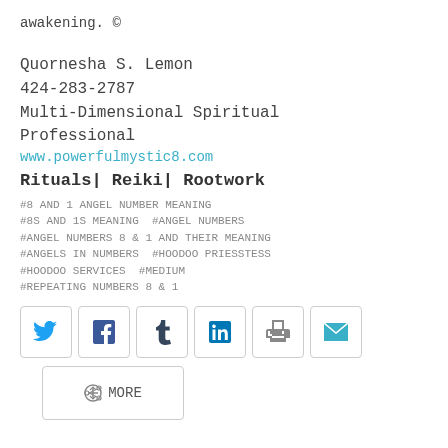awakening. ©
Quornesha S. Lemon
424-283-2787
Multi-Dimensional Spiritual Professional
www.powerfulmystic8.com
Rituals| Reiki| Rootwork
#8 AND 1 ANGEL NUMBER MEANING
#8S AND 1S MEANING  #ANGEL NUMBERS
#ANGEL NUMBERS 8 & 1 AND THEIR MEANING
#ANGELS IN NUMBERS  #HOODOO PRIESSTESS
#HOODOO SERVICES  #MEDIUM
#REPEATING NUMBERS 8 & 1
[Figure (infographic): Social share buttons: Twitter, Facebook, Tumblr, LinkedIn, Print, Email icons in bordered square buttons]
[Figure (infographic): More share button with share icon]